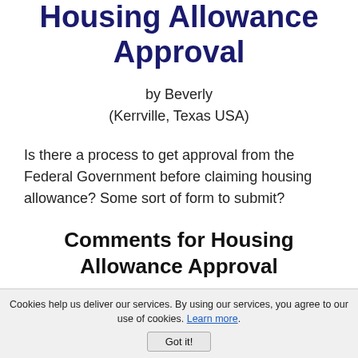Housing Allowance Approval
by Beverly
(Kerrville, Texas USA)
Is there a process to get approval from the Federal Government before claiming housing allowance? Some sort of form to submit?
Comments for Housing Allowance Approval
Click here to add your own comments
Cookies help us deliver our services. By using our services, you agree to our use of cookies. Learn more. Got it!